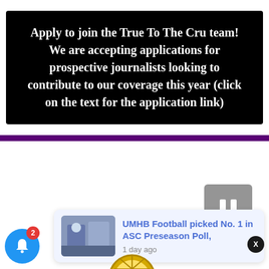[Figure (screenshot): Black banner with white bold text: Apply to join the True To The Cru team! We are accepting applications for prospective journalists looking to contribute to our coverage this year (click on the text for the application link)]
[Figure (screenshot): Website section with a pause button (gray square with two white bars), a close (X) dark circle button, a notification card with a sports photo thumbnail and text 'UMHB Football picked No. 1 in ASC Preseason Poll, 1 day ago', a blue bell notification button with red badge showing 2, and a partial gold circle/logo at the bottom.]
UMHB Football picked No. 1 in ASC Preseason Poll,
1 day ago